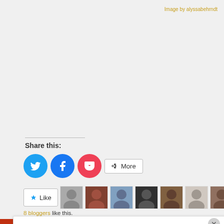Image by alyssabehrndt
Share this:
[Figure (screenshot): Social share buttons: Twitter (blue circle), Facebook (blue circle), Pocket (red circle), and More button]
[Figure (screenshot): Like button with star icon and 8 blogger avatar thumbnails]
8 bloggers like this.
Privacy & Cookies: This site uses cookies. By continuing to use this website, you agree to their use.
To find out more, including how to control cookies, see here: Cookie Policy
Close and accept